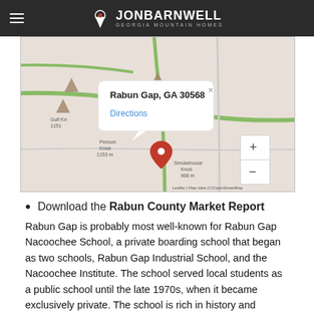JON BARNWELL GEORGIA MOUNTAIN HOMES
[Figure (map): Google/Leaflet map showing Rabun Gap, GA 30568 with a popup tooltip and a red location pin near Penson Knob and Smokehouse Knob. Map includes zoom controls (+/-). Attribution: Leaflet | Map data (C) OpenStreetMap.]
Download the Rabun County Market Report
Rabun Gap is probably most well-known for Rabun Gap Nacoochee School, a private boarding school that began as two schools, Rabun Gap Industrial School, and the Nacoochee Institute. The school served local students as a public school until the late 1970s, when it became exclusively private. The school is rich in history and continues to serve day and boarding students from all over the country and the world. Rabun Gap is home to Osage Farms, a popular stop for vacationers and locals alike. From